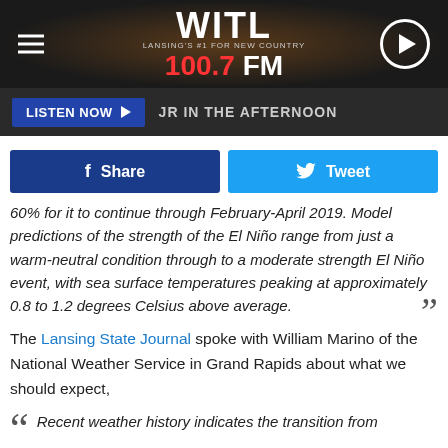[Figure (screenshot): WITL 100.7 FM radio station website header with logo, hamburger menu, and play button on dark background]
LISTEN NOW ▶  JR IN THE AFTERNOON
f Share   🐦 Tweet
60% for it to continue through February-April 2019. Model predictions of the strength of the El Niño range from just a warm-neutral condition through to a moderate strength El Niño event, with sea surface temperatures peaking at approximately 0.8 to 1.2 degrees Celsius above average. "
The Lansing State Journal spoke with William Marino of the National Weather Service in Grand Rapids about what we should expect,
" Recent weather history indicates the transition from